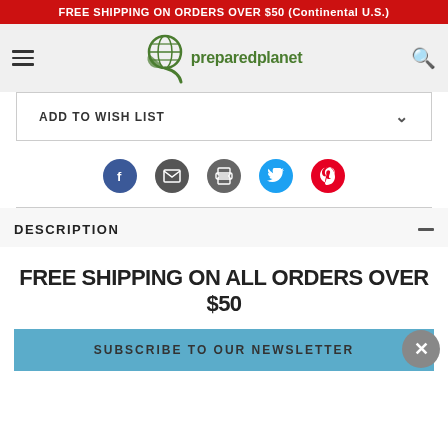FREE SHIPPING ON ORDERS OVER $50 (Continental U.S.)
[Figure (logo): PreparedPlanet logo with globe icon and text 'preparedplanet']
ADD TO WISH LIST
[Figure (infographic): Social sharing icons: Facebook, Email, Print, Twitter, Pinterest]
DESCRIPTION
FREE SHIPPING ON ALL ORDERS OVER $50
SUBSCRIBE TO OUR NEWSLETTER